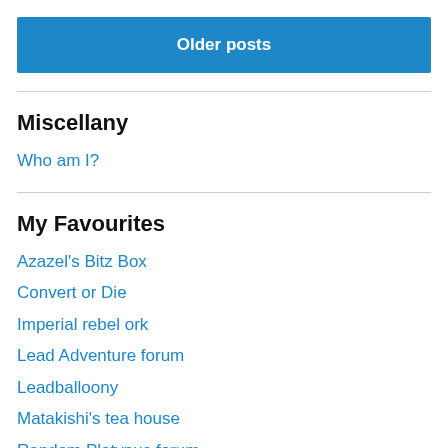Older posts
Miscellany
Who am I?
My Favourites
Azazel's Bitz Box
Convert or Die
Imperial rebel ork
Lead Adventure forum
Leadballoony
Matakishi's tea house
Random Platypus forum
Sho3box